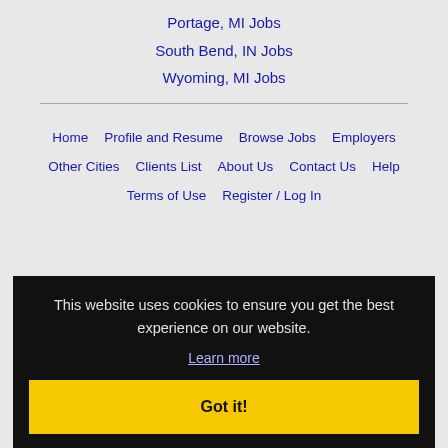Portage, MI Jobs
South Bend, IN Jobs
Wyoming, MI Jobs
Home
Profile and Resume
Browse Jobs
Employers
Other Cities
Clients List
About Us
Contact Us
Help
Terms of Use
Register / Log In
This website uses cookies to ensure you get the best experience on our website.
Learn more
Got it!